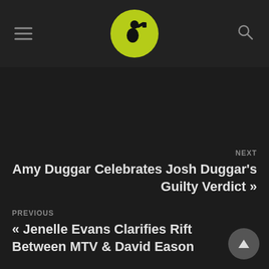Navigation header with hamburger menu, logo, and search icon
NEXT
Amy Duggar Celebrates Josh Duggar's Guilty Verdict »
PREVIOUS
« Jenelle Evans Clarifies Rift Between MTV & David Eason